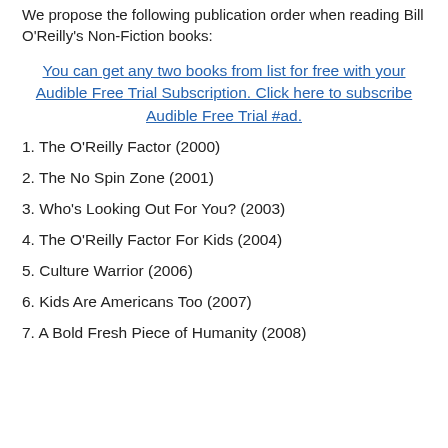We propose the following publication order when reading Bill O'Reilly's Non-Fiction books:
You can get any two books from list for free with your Audible Free Trial Subscription. Click here to subscribe Audible Free Trial #ad.
1. The O'Reilly Factor (2000)
2. The No Spin Zone (2001)
3. Who's Looking Out For You? (2003)
4. The O'Reilly Factor For Kids (2004)
5. Culture Warrior (2006)
6. Kids Are Americans Too (2007)
7. A Bold Fresh Piece of Humanity (2008)